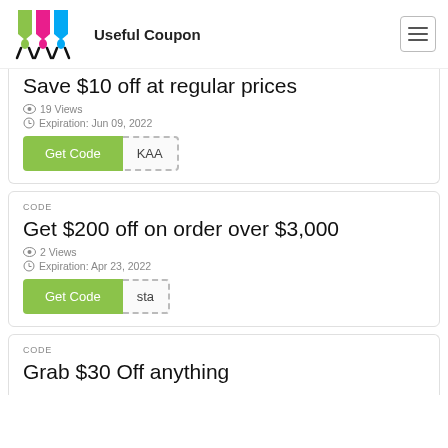Useful Coupon
Save $10 off at regular prices
19 Views
Expiration: Jun 09, 2022
Get Code | KAA
CODE
Get $200 off on order over $3,000
2 Views
Expiration: Apr 23, 2022
Get Code | sta
CODE
Grab $30 Off anything